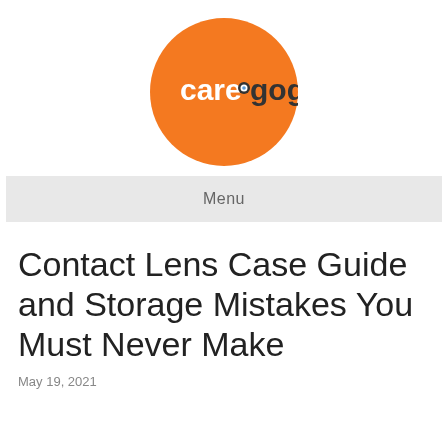[Figure (logo): Caregogi logo: orange circle with white text 'care' and dark text 'gogi' with a small eye/lens icon between the two words]
Menu
Contact Lens Case Guide and Storage Mistakes You Must Never Make
May 19, 2021